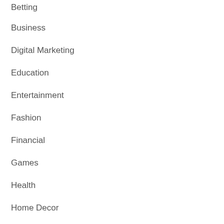Betting
Business
Digital Marketing
Education
Entertainment
Fashion
Financial
Games
Health
Home Decor
How To
Insurance
Lifestyle